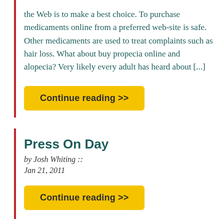the Web is to make a best choice. To purchase medicaments online from a preferred web-site is safe. Other medicaments are used to treat complaints such as hair loss. What about buy propecia online and alopecia? Very likely every adult has heard about [...]
Continue reading >>
Press On Day
by Josh Whiting :: Jan 21, 2011
Continue reading >>